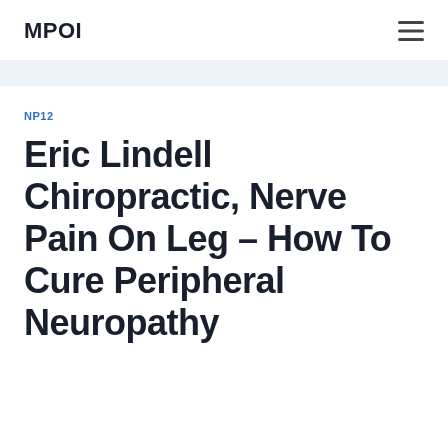MPOI
NP12
Eric Lindell Chiropractic, Nerve Pain On Leg – How To Cure Peripheral Neuropathy